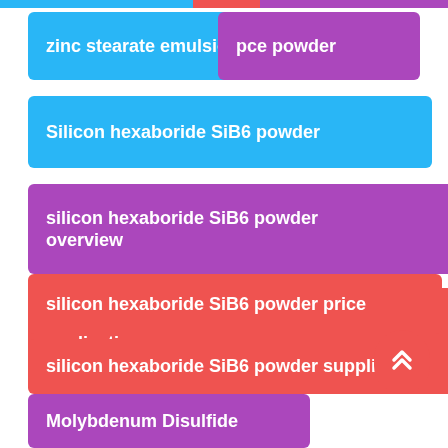zinc stearate emulsion
pce powder
Silicon hexaboride SiB6 powder
silicon hexaboride SiB6 powder overview
silicon hexaboride SiB6 powder application
silicon hexaboride SiB6 powder price
silicon hexaboride SiB6 powder supplier
Molybdenum Disulfide